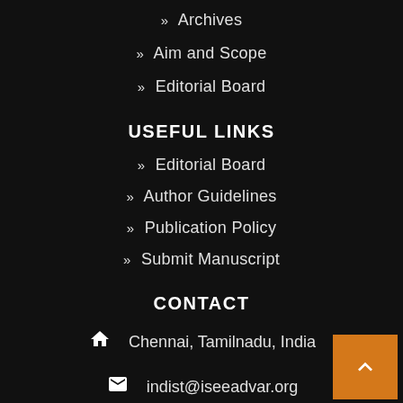» Archives
» Aim and Scope
» Editorial Board
USEFUL LINKS
» Editorial Board
» Author Guidelines
» Publication Policy
» Submit Manuscript
CONTACT
Chennai, Tamilnadu, India
indist@iseeadvar.org